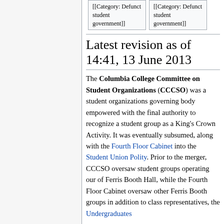[[Category: Defunct student government]]
[[Category: Defunct student government]]
Latest revision as of 14:41, 13 June 2013
The Columbia College Committee on Student Organizations (CCCSO) was a student organizations governing body empowered with the final authority to recognize a student group as a King's Crown Activity. It was eventually subsumed, along with the Fourth Floor Cabinet into the Student Union Polity. Prior to the merger, CCCSO oversaw student groups operating our of Ferris Booth Hall, while the Fourth Floor Cabinet oversaw other Ferris Booth groups in addition to class representatives, the Undergraduates